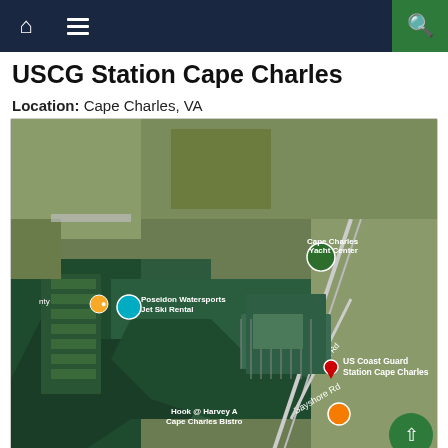USCG Station Cape Charles — navigation bar with home, menu, and search icons
USCG Station Cape Charles
Location: Cape Charles, VA
[Figure (map): Google Maps satellite aerial view of USCG Station Cape Charles area showing marina, Cape Charles Yacht Center, Poseidon Watersports Jet Ski Rental, Hook @ Harvey A Cape Charles Bistro, with a red location pin marking US Coast Guard Station Cape Charles, roads labeled Marina Rd and Bayshore Rd]
Image: Google Maps